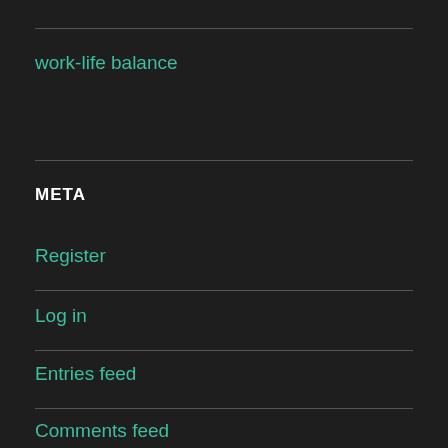work-life balance
META
Register
Log in
Entries feed
Comments feed
WordPress.com